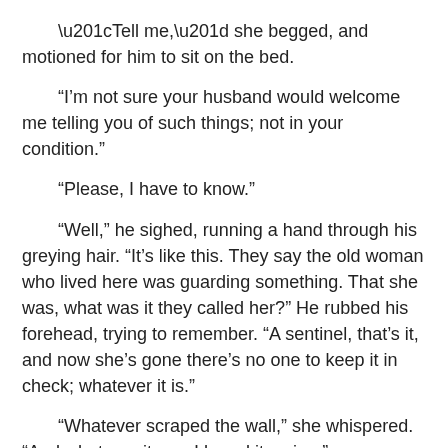“Tell me,” she begged, and motioned for him to sit on the bed.
“I’m not sure your husband would welcome me telling you of such things; not in your condition.”
“Please, I have to know.”
“Well,” he sighed, running a hand through his greying hair. “It’s like this. They say the old woman who lived here was guarding something. That she was, what was it they called her?” He rubbed his forehead, trying to remember. “A sentinel, that’s it, and now she’s gone there’s no one to keep it in check; whatever it is.”
“Whatever scraped the wall,” she whispered. “And whatever it was I heard it crying.”